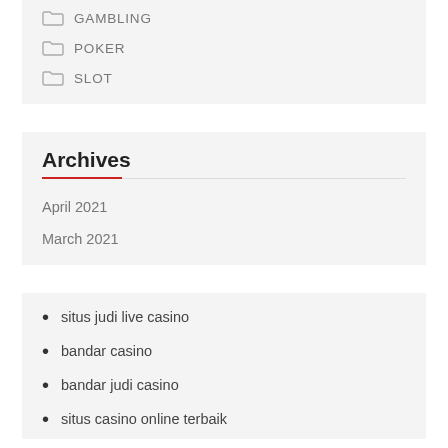GAMBLING
POKER
SLOT
Archives
April 2021
March 2021
situs judi live casino
bandar casino
bandar judi casino
situs casino online terbaik